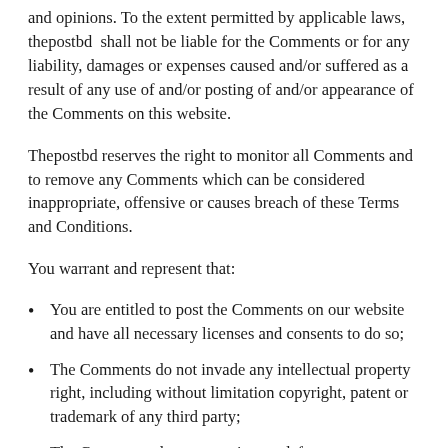and opinions. To the extent permitted by applicable laws, thepostbd  shall not be liable for the Comments or for any liability, damages or expenses caused and/or suffered as a result of any use of and/or posting of and/or appearance of the Comments on this website.
Thepostbd reserves the right to monitor all Comments and to remove any Comments which can be considered inappropriate, offensive or causes breach of these Terms and Conditions.
You warrant and represent that:
You are entitled to post the Comments on our website and have all necessary licenses and consents to do so;
The Comments do not invade any intellectual property right, including without limitation copyright, patent or trademark of any third party;
The Comments do not contain any defamatory, libelous, offensive, indecent or otherwise unlawful material which